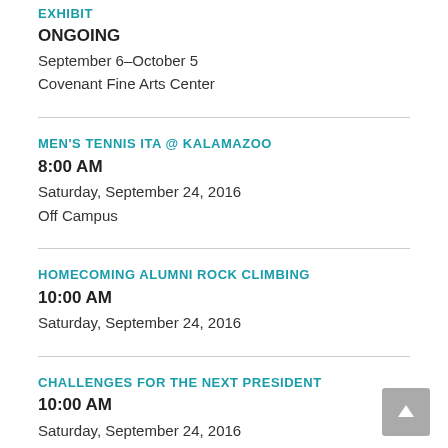EXHIBIT
ONGOING
September 6–October 5
Covenant Fine Arts Center
MEN'S TENNIS ITA @ KALAMAZOO
8:00 AM
Saturday, September 24, 2016
Off Campus
HOMECOMING ALUMNI ROCK CLIMBING
10:00 AM
Saturday, September 24, 2016
CHALLENGES FOR THE NEXT PRESIDENT
10:00 AM
Saturday, September 24, 2016
Covenant Fine Arts Swets Choral Hall 115